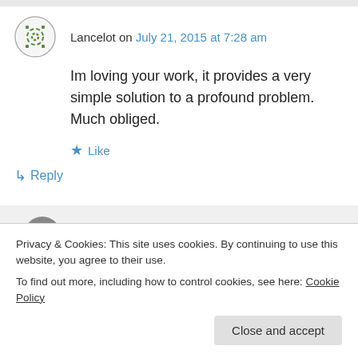Lancelot on July 21, 2015 at 7:28 am
Im loving your work, it provides a very simple solution to a profound problem. Much obliged.
★ Like
↳ Reply
moozzyk on July 21, 2015 at 9:58 am
Privacy & Cookies: This site uses cookies. By continuing to use this website, you agree to their use.
To find out more, including how to control cookies, see here: Cookie Policy